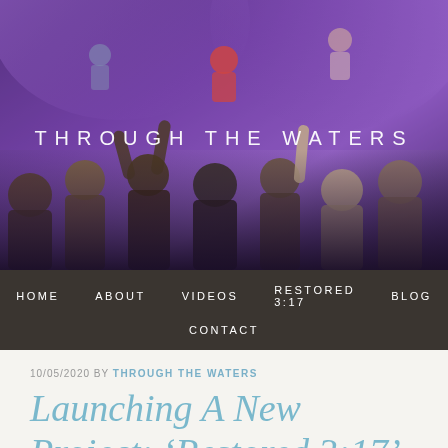[Figure (photo): Website hero banner showing a congregation with raised hands at a worship service, with purple/violet stage lighting and performers visible at the front. The site name 'THROUGH THE WATERS' is overlaid in white spaced letters.]
THROUGH THE WATERS
HOME  ABOUT  VIDEOS  RESTORED 3:17  BLOG  CONTACT
10/05/2020 BY THROUGH THE WATERS
Launching A New Project: ‘Restored 3:17’
Becci has been part of the Through The